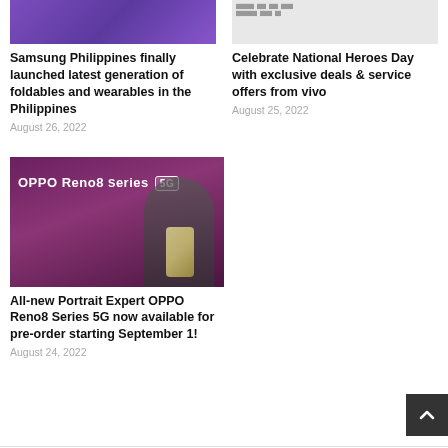[Figure (photo): Samsung Philippines product launch image - purple/violet background]
[Figure (photo): Vivo National Heroes Day promotional image with text overlay]
Samsung Philippines finally launched latest generation of foldables and wearables in the Philippines
August 26, 2022
Celebrate National Heroes Day with exclusive deals & service offers from vivo
August 25, 2022
[Figure (photo): Person holding OPPO Reno8 Series 5G phone in front of branded backdrop]
All-new Portrait Expert OPPO Reno8 Series 5G now available for pre-order starting September 1!
August 24, 2022